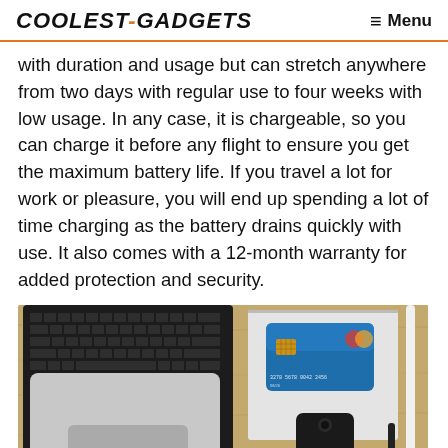COOLEST-GADGETS   ≡ Menu
with duration and usage but can stretch anywhere from two days with regular use to four weeks with low usage. In any case, it is chargeable, so you can charge it before any flight to ensure you get the maximum battery life. If you travel a lot for work or pleasure, you will end up spending a lot of time charging as the battery drains quickly with use. It also comes with a 12-month warranty for added protection and security.
[Figure (photo): Overhead view of a laptop with keyboard visible, a white notebook with a blue credit card on top, a black smartphone, and a white pen arranged on a wooden surface.]